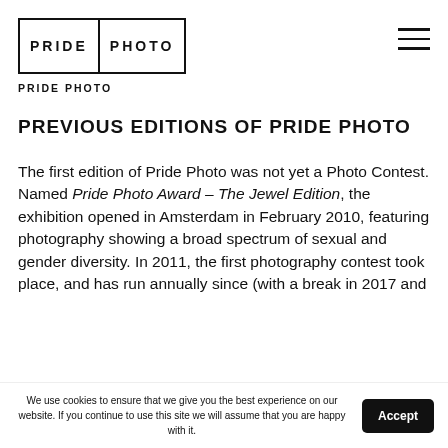PRIDE PHOTO
PRIDE PHOTO
PREVIOUS EDITIONS OF PRIDE PHOTO
The first edition of Pride Photo was not yet a Photo Contest. Named Pride Photo Award – The Jewel Edition, the exhibition opened in Amsterdam in February 2010, featuring photography showing a broad spectrum of sexual and gender diversity. In 2011, the first photography contest took place, and has run annually since (with a break in 2017 and
We use cookies to ensure that we give you the best experience on our website. If you continue to use this site we will assume that you are happy with it. Accept